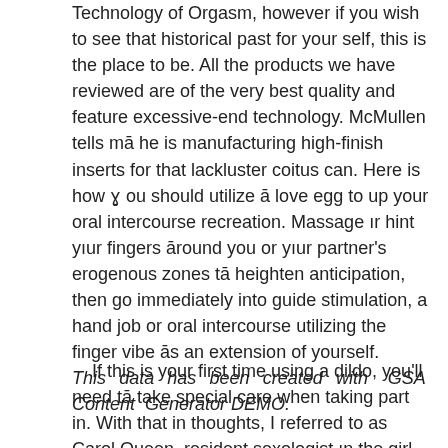Technology of Orgasm, however if you wish to see that historical past for your self, this is the place to be. All the products we have reviewed are of the very best quality and feature excessive-end technology. McMullen tells me he is manufacturing high-finish inserts for that lackluster coitus can. Here is how you should utilize a love egg to up your oral intercourse recreation. Massage or hint your fingers around you or your partner's erogenous zones to heighten anticipation, then go immediately into guide stimulation, a hand job or oral intercourse utilizing the finger vibe as an extension of yourself. This data has been created with GSA Content Generator DEMO.
If this is your first time using a dildo, you'll need to take special care when taking part in. With that in thoughts, I referred to as Carol Queen, resident sexologist in the girl-run Bay Area intercourse shop Good Vibrations, to speak in